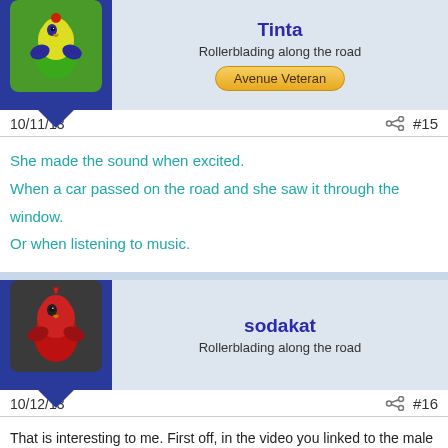Tinta
Rollerblading along the road
Avenue Veteran
10/11/13   #15
She made the sound when excited.
When a car passed on the road and she saw it through the window.
Or when listening to music.
sodakat
Rollerblading along the road
10/12/13   #16
That is interesting to me. First off, in the video you linked to the male is the bird who is sounding off. I suppose you know that and just chose this video as an example of the noise. Oh, and btw, the woman who owned those two birds did not keep the female very